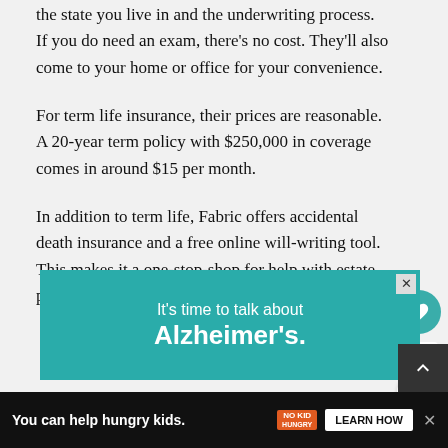the state you live in and the underwriting process. If you do need an exam, there's no cost. They'll also come to your home or office for your convenience.
For term life insurance, their prices are reasonable. A 20-year term policy with $250,000 in coverage comes in around $15 per month.
In addition to term life, Fabric offers accidental death insurance and a free online will-writing tool. This makes it a one-stop-shop for help with estate planning.
[Figure (screenshot): Teal advertisement banner reading 'It's time to talk about Alzheimer's.']
[Figure (screenshot): Black bottom advertisement bar reading 'You can help hungry kids.' with No Kid Hungry branding and 'Learn How' button]